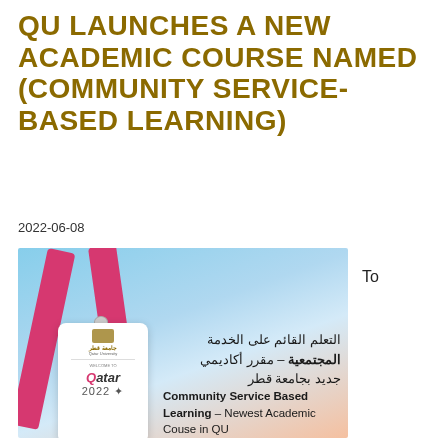QU LAUNCHES A NEW ACADEMIC COURSE NAMED (COMMUNITY SERVICE-BASED LEARNING)
2022-06-08
[Figure (photo): Photo of a Qatar University lanyard badge holder with a pink/red lanyard strap against a blue sky background. The badge card shows the Qatar University logo, 'Welcome to Qatar 2022' text. Arabic text on the image reads: التعلم القائم على الخدمة المجتمعية - مقرر أكاديمي جديد بجامعة قطر. English text reads: Community Service Based Learning – Newest Academic Couse in QU]
To